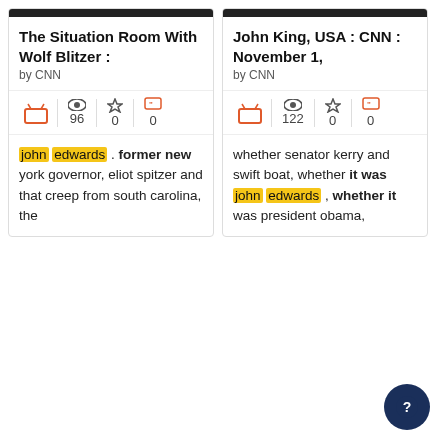The Situation Room With Wolf Blitzer :
by CNN
96 views, 0 favorites, 0 quotes
john edwards . former new york governor, eliot spitzer and that creep from south carolina, the
John King, USA : CNN : November 1,
by CNN
122 views, 0 favorites, 0 quotes
whether senator kerry and swift boat, whether it was john edwards , whether it was president obama,